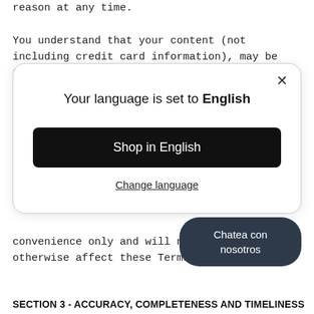reason at any time.
You understand that your content (not including credit card information), may be transferred unencrypted and involve (a) transmissions over various networks; and (b) changes to
[Figure (screenshot): Modal dialog overlay with close button (×), title 'Your language is set to English', a black 'Shop in English' button, and an underlined 'Change language' link]
convenience only and will not limit or otherwise affect these Terms.
[Figure (other): Dark rounded chat bubble with text 'Chatea con nosotros']
SECTION 3 - ACCURACY, COMPLETENESS AND TIMELINESS